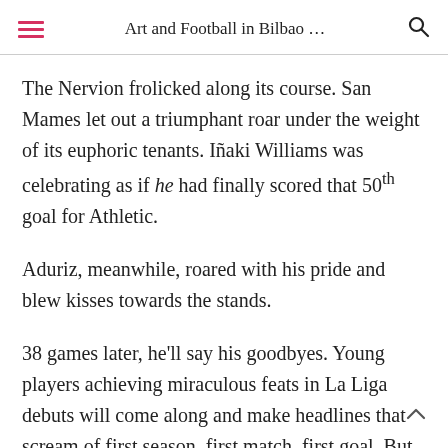Art and Football in Bilbao …
The Nervion frolicked along its course. San Mames let out a triumphant roar under the weight of its euphoric tenants. Iñaki Williams was celebrating as if he had finally scored that 50th goal for Athletic.
Aduriz, meanwhile, roared with his pride and blew kisses towards the stands.
38 games later, he'll say his goodbyes. Young players achieving miraculous feats in La Liga debuts will come along and make headlines that scream of first season, first match, first goal. But in Bilbao they know that Aduriz, like all 38-year-olds hitting chilenas, should be